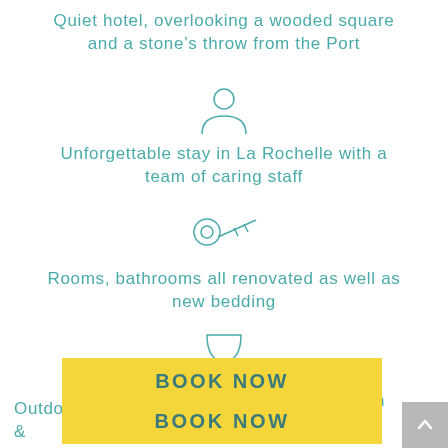Quiet hotel, overlooking a wooded square and a stone's throw from the Port
[Figure (illustration): Line icon of a person silhouette (user/person icon)]
Unforgettable stay in La Rochelle with a team of caring staff
[Figure (illustration): Line icon of a key]
Rooms, bathrooms all renovated as well as new bedding
[Figure (illustration): Line icon of a wine glass]
Rooftop terrace with armchairs and sun beds
[Figure (illustration): Line icon of a sun / brightness symbol]
Outdoor p... f the hotel &... n
[Figure (other): Yellow BOOK NOW button overlay]
[Figure (other): Gray scroll-to-top button with up arrow]